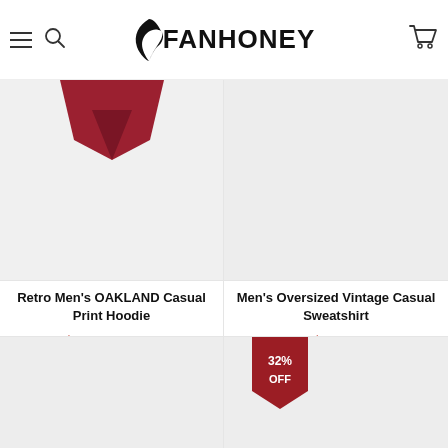FANHONEY
[Figure (photo): Product image area for Retro Men's OAKLAND Casual Print Hoodie - partial red hoodie visible at top]
Retro Men's OAKLAND Casual Print Hoodie
$38.13  $53.99
[Figure (photo): Product image area for Men's Oversized Vintage Casual Sweatshirt - gray background placeholder]
Men's Oversized Vintage Casual Sweatshirt
$30.25
[Figure (photo): Bottom left product image area - gray placeholder]
[Figure (photo): Bottom right product image area with 32% OFF badge]